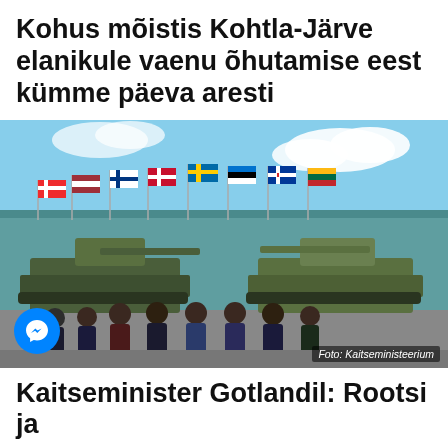Kohus mõistis Kohtla-Järve elanikule vaenu õhutamise eest kümme päeva aresti
[Figure (photo): Group of eight men in suits posing in front of two military tanks. Multiple Nordic and Baltic country flags are visible in the background. Photo credit: Kaitseministeerium.]
Foto: Kaitseministeerium
Kaitseminister Gotlandil: Rootsi ja